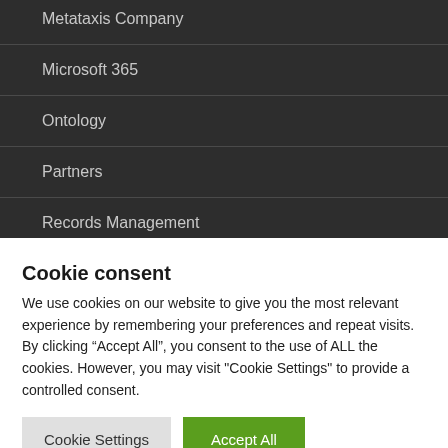Metataxis Company
Microsoft 365
Ontology
Partners
Records Management
Retention Management
Cookie consent
We use cookies on our website to give you the most relevant experience by remembering your preferences and repeat visits. By clicking “Accept All”, you consent to the use of ALL the cookies. However, you may visit "Cookie Settings" to provide a controlled consent.
Cookie Settings   Accept All